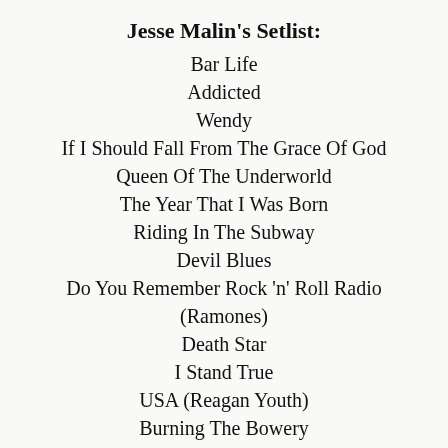Jesse Malin's Setlist:
Bar Life
Addicted
Wendy
If I Should Fall From The Grace Of God
Queen Of The Underworld
The Year That I Was Born
Riding In The Subway
Devil Blues
Do You Remember Rock 'n' Roll Radio
(Ramones)
Death Star
I Stand True
USA (Reagan Youth)
Burning The Bowery